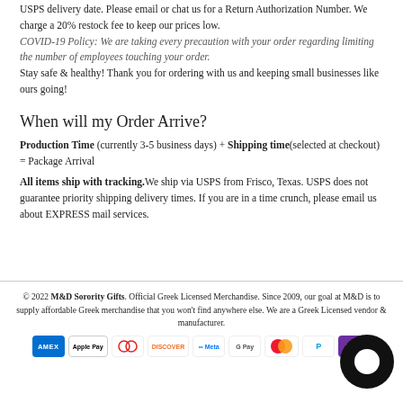USPS delivery date. Please email or chat us for a Return Authorization Number. We charge a 20% restock fee to keep our prices low.
COVID-19 Policy: We are taking every precaution with your order regarding limiting the number of employees touching your order.
Stay safe & healthy! Thank you for ordering with us and keeping small businesses like ours going!
When will my Order Arrive?
Production Time (currently 3-5 business days) + Shipping time(selected at checkout) = Package Arrival
All items ship with tracking.We ship via USPS from Frisco, Texas. USPS does not guarantee priority shipping delivery times. If you are in a time crunch, please email us about EXPRESS mail services.
© 2022 M&D Sorority Gifts. Official Greek Licensed Merchandise. Since 2009, our goal at M&D is to supply affordable Greek merchandise that you won't find anywhere else. We are a Greek Licensed vendor & manufacturer.